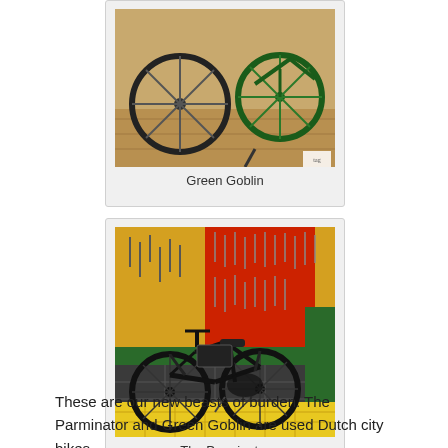[Figure (photo): Photo of green bicycles/bikes in a shop, partial view showing wheels and frames on a wooden floor, labeled Green Goblin]
Green Goblin
[Figure (photo): Photo of a black Dutch city bike (The Parminator) in a workshop/bike shop with yellow and red tool walls and yellow brick floor, with a basket on the front]
The Parminator
These are our new beasts of burden. The Parminator and Green Goblin are used Dutch city bikes